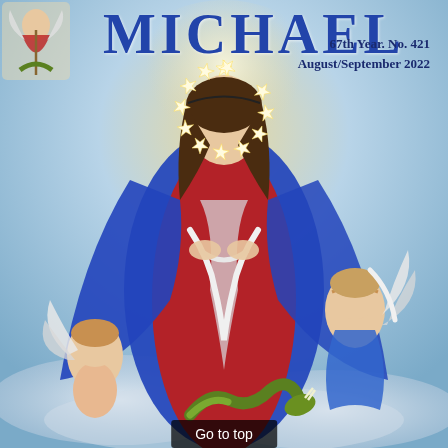MICHAEL
67th Year. No. 421
August/September 2022
[Figure (illustration): Religious magazine cover illustration: A woman (Mary/Our Lady Undoer of Knots) dressed in red gown and blue mantle, with a halo of stars, untying a white ribbon/knot. She is flanked by two cherub angels with wings. A serpent coils beneath her feet. In the upper left corner, a small inset image of St. Michael the Archangel slaying a dragon. Background is a soft blue and golden sky.]
Go to top